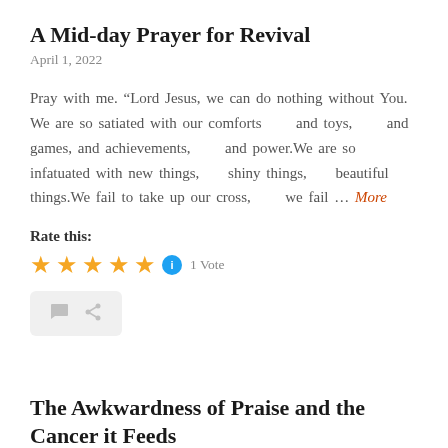A Mid-day Prayer for Revival
April 1, 2022
Pray with me. “Lord Jesus, we can do nothing without You. We are so satiated with our comforts      and toys,      and games,      and achievements,       and power.We are so infatuated with new things,     shiny things,     beautiful things.We fail to take up our cross,      we fail ... More
Rate this:
★★★★★ ⓘ 1 Vote
[Figure (other): Action bar with comment and share icons on light gray background]
The Awkwardness of Praise and the Cancer it Feeds